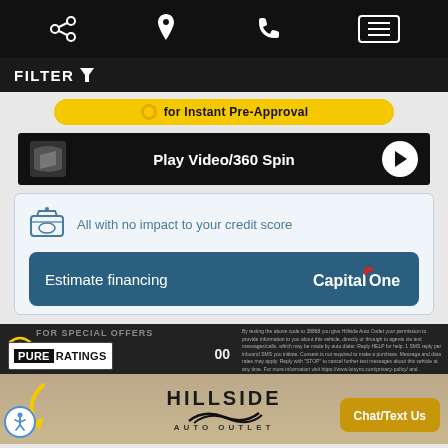[Figure (screenshot): Mobile website navigation bar with share, location, phone, and menu icons on black background]
FILTER
for Instant Pre-Approval
Play Video/360 Spin
All with no impact to your credit score
Estimate financing
[Figure (logo): PURE RATINGS logo badge]
By texting the above code to 38868 you give Hillside Auto Outlet your permission to provide information to you about this vehicle, directly or through to agents via text messages/calls, which may be made by auto dialer. Reply HELP for help. 1 SMS reply per inbound SMS you initiate. Consent is not required to make a purchase. Message and data rates may apply. Reply with 'STOP' to cancel further text messages about this vehicle at any time. For more information visit https://www.lotsync.com/privacy-policy/ and https://www.lotsync.com/terms-of-service/.
[Figure (logo): Hillside Auto Outlet dealership logo]
Chat/Text Us